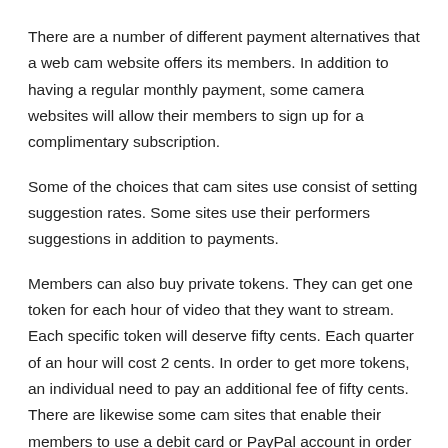There are a number of different payment alternatives that a web cam website offers its members. In addition to having a regular monthly payment, some camera websites will allow their members to sign up for a complimentary subscription.
Some of the choices that cam sites use consist of setting suggestion rates. Some sites use their performers suggestions in addition to payments.
Members can also buy private tokens. They can get one token for each hour of video that they want to stream. Each specific token will deserve fifty cents. Each quarter of an hour will cost 2 cents. In order to get more tokens, an individual need to pay an additional fee of fifty cents. There are likewise some cam sites that enable their members to use a debit card or PayPal account in order to spend for their subscription.
Members of a cam website can likewise directly pay to...